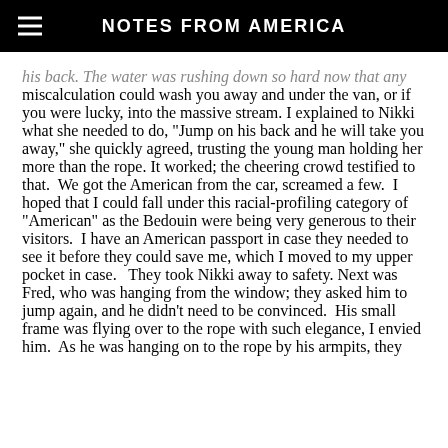NOTES FROM AMERICA
his back. The water was rushing down so hard now that any miscalculation could wash you away and under the van, or if you were lucky, into the massive stream. I explained to Nikki what she needed to do, "Jump on his back and he will take you away," she quickly agreed, trusting the young man holding her more than the rope. It worked; the cheering crowd testified to that.  We got the American from the car, screamed a few.  I hoped that I could fall under this racial-profiling category of "American" as the Bedouin were being very generous to their visitors.  I have an American passport in case they needed to see it before they could save me, which I moved to my upper pocket in case.  They took Nikki away to safety. Next was Fred, who was hanging from the window; they asked him to jump again, and he didn't need to be convinced.  His small frame was flying over to the rope with such elegance, I envied him.  As he was hanging on to the rope by his armpits, they